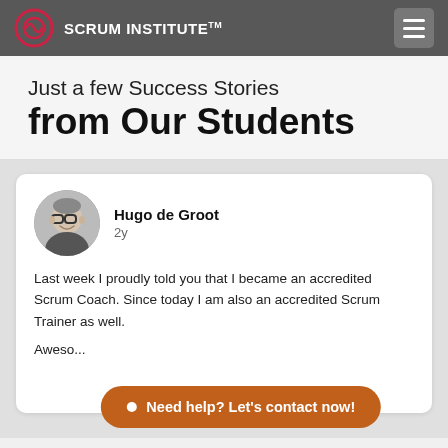SCRUM INSTITUTE™
Just a few Success Stories from Our Students
[Figure (photo): Profile photo of Hugo de Groot, a man with glasses, black and white]
Hugo de Groot
2y
Last week I proudly told you that I became an accredited Scrum Coach. Since today I am also an accredited Scrum Trainer as well.
Aweso...
• Need help? Let's contact now!